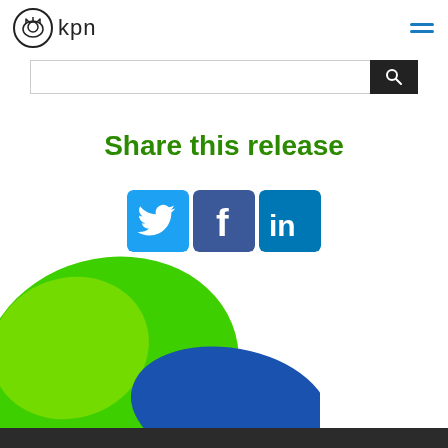[Figure (logo): KPN logo with crown-like symbol and 'kpn' text]
[Figure (infographic): Hamburger menu icon with blue lines]
[Figure (infographic): Search bar with dark search button]
Share this release
[Figure (infographic): Three social media icons: Twitter (blue bird), Facebook (blue f), LinkedIn (blue in)]
[Figure (illustration): Decorative green and blue blob shapes at bottom left]